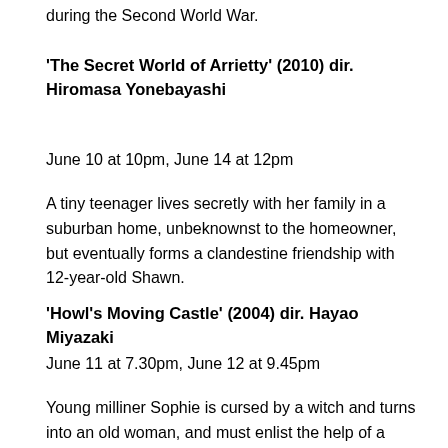during the Second World War.
‘The Secret World of Arrietty’ (2010) dir. Hiromasa Yonebayashi
June 10 at 10pm, June 14 at 12pm
A tiny teenager lives secretly with her family in a suburban home, unbeknownst to the homeowner, but eventually forms a clandestine friendship with 12-year-old Shawn.
‘Howl’s Moving Castle’ (2004) dir. Hayao Miyazaki
June 11 at 7.30pm, June 12 at 9.45pm
Young milliner Sophie is cursed by a witch and turns into an old woman, and must enlist the help of a wizard named